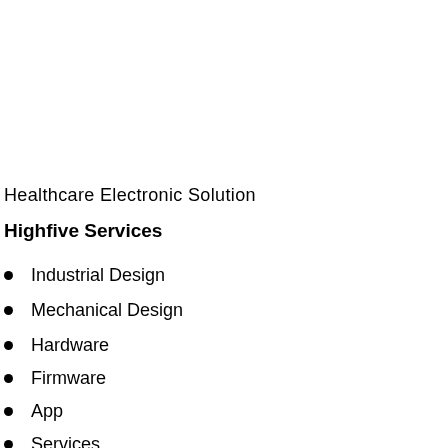Healthcare Electronic Solution
Highfive Services
Industrial Design
Mechanical Design
Hardware
Firmware
App
Services